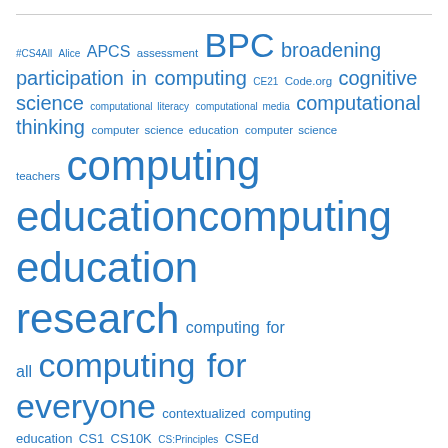[Figure (other): Tag/word cloud of computing education related keywords in various font sizes, all in blue color. Larger words appear more frequently. Keywords include: #CS4All, Alice, APCS, assessment, BPC, broadening participation in computing, CE21, Code.org, cognitive science, computational literacy, computational media, computational thinking, computer science education, computer science teachers, computing education, computing education research, computing for all, computing for everyone, contextualized computing education, CS1, CS10K, CS:Principles, CSEd Week, CSLearning4U, CSTA, curriculum, distance education, ebooks, ECEP, economics, educational psychology, educational technology, education research, end-user]